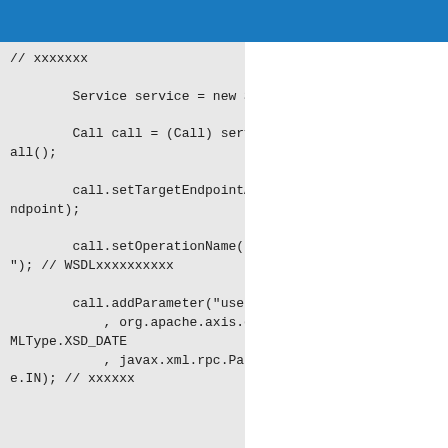// xxxxxxx

        Service service = new Service();

        Call call = (Call) service.createCall();

        call.setTargetEndpointAddress(endpoint);

        call.setOperationName("addUser"); // WSDLxxxxxxxxxx

        call.addParameter("userName"
            , org.apache.axis.encoding.XMLType.XSD_DATE
            , javax.xml.rpc.ParameterMode.IN); // xxxxxx